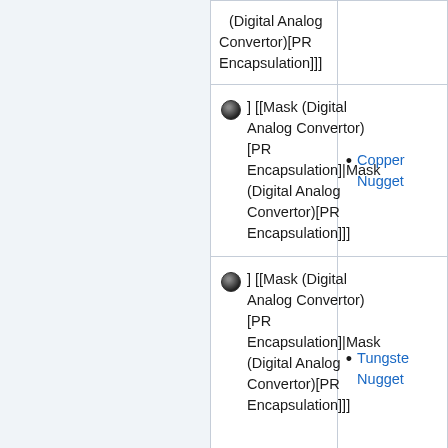| (Digital Analog Convertor)[PR Encapsulation]]] |  |
| ⬤ ] [[Mask (Digital Analog Convertor) [PR Encapsulation]|Mask (Digital Analog Convertor)[PR Encapsulation]]] | • Copper Nugget |
| ⬤ ] [[Mask (Digital Analog Convertor) [PR Encapsulation]|Mask (Digital Analog Convertor)[PR Encapsulation]]] | • Tungste Nugget |